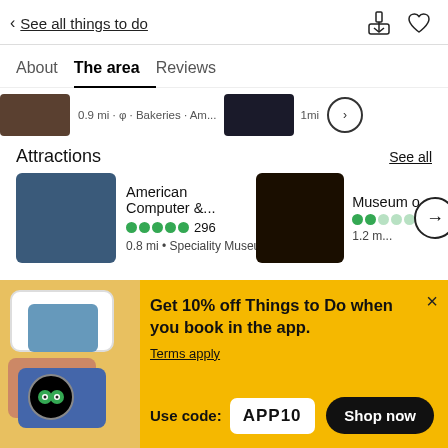< See all things to do
About   The area   Reviews
0.9 mi · φ · Bakeries · Am...    1mi
Attractions
See all
American Computer &...
●●●●● 296
0.8 mi • Speciality Museu...
Museum o...
●●
1.2 m...
Get 10% off Things to Do when you book in the app.
Terms apply
Use code: APP10
Shop now